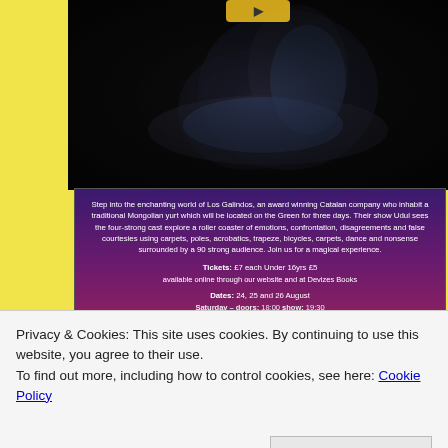[Figure (photo): Dark dramatic photo of two people embracing, one person reclining with head back, the other leaning over them, against a near-black background. A yellow logo/icon is partially visible at the top.]
Step into the enchanting world of Los Galindos, an award winning Catalan company who inhabit a traditional Mongolian yurt which will be located on the Green for three days. Their show Udul sees the four-strong cast explore a roller coaster of emotions, confrontation, disagreements and false courtesies using carpets, poles, acrobatics, trapeze, bicycles, carpets, dance and nonsense surrounded by a 90 strong audience. Join us for a magical experience.
Tickets: £7 each Under 16yrs £5 available online through our website and at Devizes Books Dates: 24, 25 and 26 August Saturday – doors: 18:00 show: 19:30
Privacy & Cookies: This site uses cookies. By continuing to use this website, you agree to their use.
To find out more, including how to control cookies, see here: Cookie Policy
Close and accept